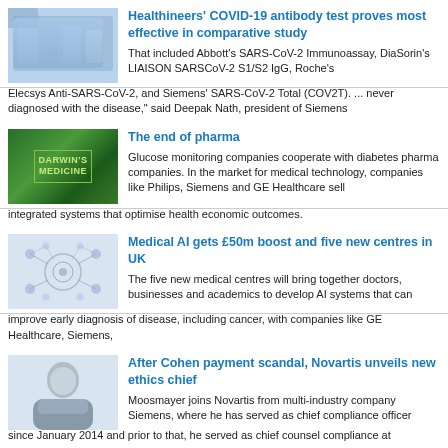[Figure (photo): Laboratory setting with blue-toned equipment and gloved hands]
Healthineers' COVID-19 antibody test proves most effective in comparative study
That included Abbott's SARS-CoV-2 Immunoassay, DiaSorin's LIAISON SARSCoV-2 S1/S2 IgG, Roche's Elecsys Anti-SARS-CoV-2, and Siemens' SARS-CoV-2 Total (COV2T). ... never diagnosed with the disease," said Deepak Nath, president of Siemens
[Figure (photo): Darwin's Medicine book cover with green plant background]
The end of pharma
Glucose monitoring companies cooperate with diabetes pharma companies. In the market for medical technology, companies like Philips, Siemens and GE Healthcare sell integrated systems that optimise health economic outcomes.
[Figure (illustration): Medical AI network diagram with circular nodes and connections]
Medical AI gets £50m boost and five new centres in UK
The five new medical centres will bring together doctors, businesses and academics to develop AI systems that can improve early diagnosis of disease, including cancer, with companies like GE Healthcare, Siemens,
[Figure (photo): Professional man in suit, headshot photo]
After Cohen payment scandal, Novartis unveils new ethics chief
Moosmayer joins Novartis from multi-industry company Siemens, where he has served as chief compliance officer since January 2014 and prior to that, he served as chief counsel compliance at